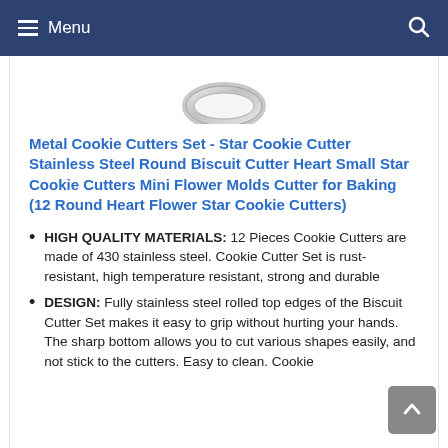Menu
[Figure (photo): Partial view of a stainless steel cookie cutter from above, showing the round rolled top edge on a white background.]
Metal Cookie Cutters Set - Star Cookie Cutter Stainless Steel Round Biscuit Cutter Heart Small Star Cookie Cutters Mini Flower Molds Cutter for Baking (12 Round Heart Flower Star Cookie Cutters)
HIGH QUALITY MATERIALS: 12 Pieces Cookie Cutters are made of 430 stainless steel. Cookie Cutter Set is rust-resistant, high temperature resistant, strong and durable
DESIGN: Fully stainless steel rolled top edges of the Biscuit Cutter Set makes it easy to grip without hurting your hands. The sharp bottom allows you to cut various shapes easily, and not stick to the cutters. Easy to clean. Cookie